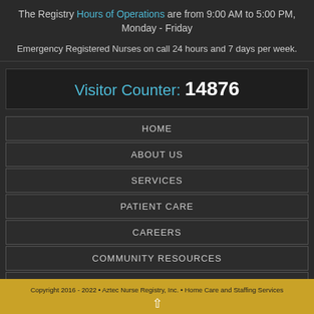The Registry Hours of Operations are from 9:00 AM to 5:00 PM, Monday - Friday
Emergency Registered Nurses on call 24 hours and 7 days per week.
Visitor Counter: 14876
HOME
ABOUT US
SERVICES
PATIENT CARE
CAREERS
COMMUNITY RESOURCES
BLOG
CONTACT US
Copyright 2016 - 2022 • Aztec Nurse Registry, Inc. • Home Care and Staffing Services